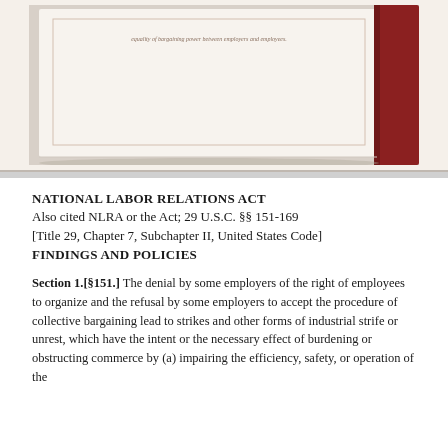[Figure (photo): Photograph of an open book showing a page with text about equality of bargaining power between employers and employees, with a dark red/maroon binding visible on the right side.]
NATIONAL LABOR RELATIONS ACT
Also cited NLRA or the Act; 29 U.S.C. §§ 151-169
[Title 29, Chapter 7, Subchapter II, United States Code]
FINDINGS AND POLICIES
Section 1.[§151.] The denial by some employers of the right of employees to organize and the refusal by some employers to accept the procedure of collective bargaining lead to strikes and other forms of industrial strife or unrest, which have the intent or the necessary effect of burdening or obstructing commerce by (a) impairing the efficiency, safety, or operation of the